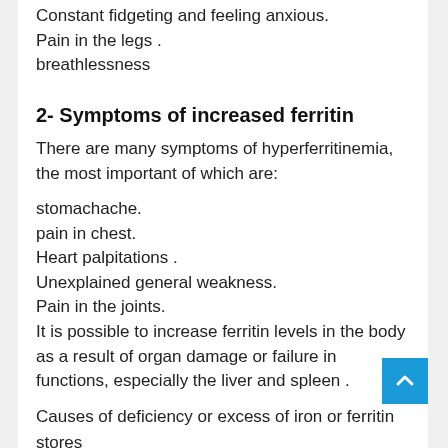Constant fidgeting and feeling anxious.
Pain in the legs .
breathlessness
2- Symptoms of increased ferritin
There are many symptoms of hyperferritinemia, the most important of which are:
stomachache.
pain in chest.
Heart palpitations .
Unexplained general weakness.
Pain in the joints.
It is possible to increase ferritin levels in the body as a result of organ damage or failure in functions, especially the liver and spleen .
Causes of deficiency or excess of iron or ferritin stores